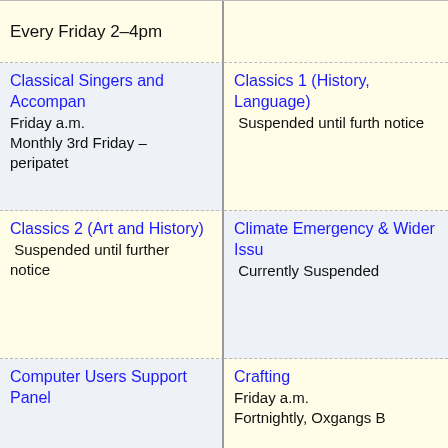| Every Friday 2–4pm |  |
| Classical Singers and Accompan
Friday a.m.
Monthly 3rd Friday – peripatet | Classics 1 (History, Language)
Suspended until furth notice |
| Classics 2 (Art and History)
Suspended until further notice | Climate Emergency & Wider Issu
Currently Suspended |
| Computer Users Support Panel | Crafting
Friday a.m.
Fortnightly, Oxgangs B |
| Creative Writing (Advanced)
Tuesday p.m.
Monthly 1st Tues, EH8 | Creative Writing 1
Friday a.m.
Monthly, Fridays, Black |
| Creative Writing 2... | Creative Writing 2... |